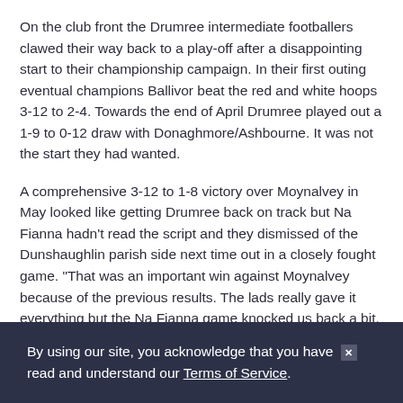On the club front the Drumree intermediate footballers clawed their way back to a play-off after a disappointing start to their championship campaign. In their first outing eventual champions Ballivor beat the red and white hoops 3-12 to 2-4. Towards the end of April Drumree played out a 1-9 to 0-12 draw with Donaghmore/Ashbourne. It was not the start they had wanted.
A comprehensive 3-12 to 1-8 victory over Moynalvey in May looked like getting Drumree back on track but Na Fianna hadn't read the script and they dismissed of the Dunshaughlin parish side next time out in a closely fought game. "That was an important win against Moynalvey because of the previous results. The lads really gave it everything but the Na Fianna game knocked us back a bit.
By using our site, you acknowledge that you have read and understand our Terms of Service.